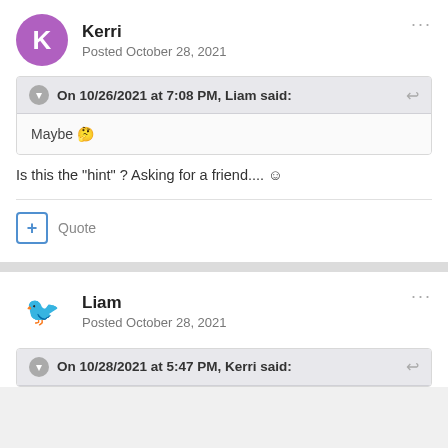Kerri
Posted October 28, 2021
On 10/26/2021 at 7:08 PM, Liam said:
Maybe 🤔
Is this the "hint" ? Asking for a friend.... ☺
Quote
Liam
Posted October 28, 2021
On 10/28/2021 at 5:47 PM, Kerri said: